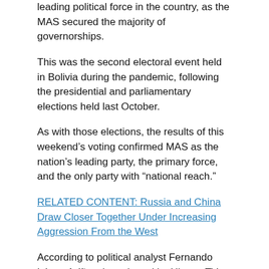leading political force in the country, as the MAS secured the majority of governorships.
This was the second electoral event held in Bolivia during the pandemic, following the presidential and parliamentary elections held last October.
As with those elections, the results of this weekend's voting confirmed MAS as the nation's leading party, the primary force, and the only party with “national reach.”
RELATED CONTENT: Russia and China Draw Closer Together Under Increasing Aggression From the West
According to political analyst Fernando López Aríñez, interviewed by Hispan TV, the ruling party achieved almost the same results as 2015.
According to Aríñez, MAS won in five out of nine departments, though they were only victorious in two of the ten largest cities in the country.
La Paz appears to have been won by the opposition candidate Iván Arias, a former minister in the de facto government of Jeanine Áñez. This result continued the historical trend for MAS, since the party has